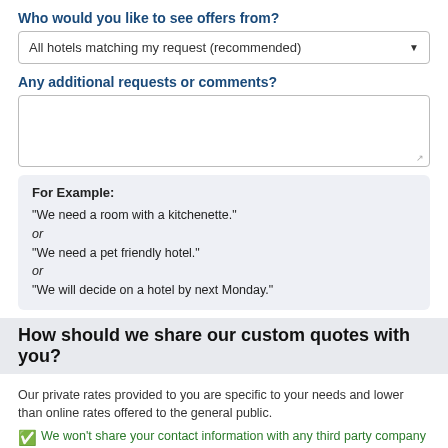Who would you like to see offers from?
All hotels matching my request (recommended)
Any additional requests or comments?
For Example:
"We need a room with a kitchenette."
or
"We need a pet friendly hotel."
or
"We will decide on a hotel by next Monday."
How should we share our custom quotes with you?
Our private rates provided to you are specific to your needs and lower than online rates offered to the general public.
We won't share your contact information with any third party company without your permission.
Email (must be a real email)
+1